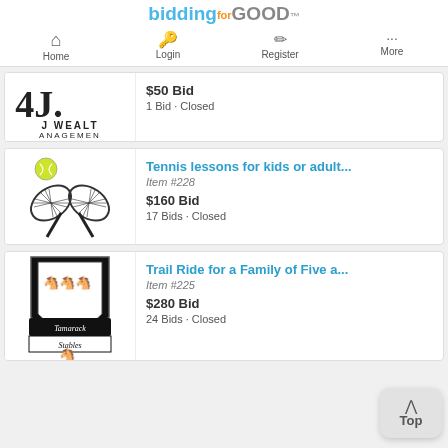biddingforGOOD
Home
Login
Register
More
[Figure (logo): J Wealth Management logo, partially visible]
$50 Bid
1 Bid · Closed
[Figure (illustration): Two crossed tennis rackets with a yellow tennis ball]
Tennis lessons for kids or adult...
Item #228
$160 Bid
17 Bids · Closed
[Figure (logo): Tamarack Stables crest logo, black and white shield with horse heads]
Trail Ride for a Family of Five a...
Item #225
$280 Bid
24 Bids · Closed